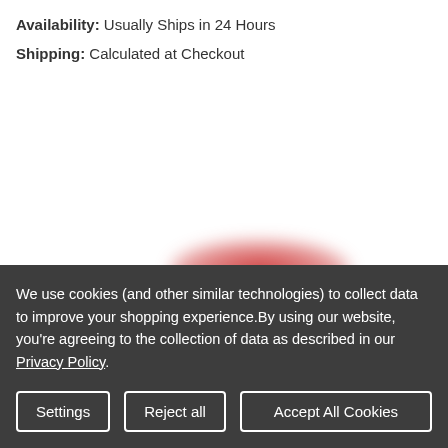Availability: Usually Ships in 24 Hours
Shipping: Calculated at Checkout
[Figure (photo): Product image area with blurred red object visible at bottom]
We use cookies (and other similar technologies) to collect data to improve your shopping experience.By using our website, you're agreeing to the collection of data as described in our Privacy Policy.
Settings | Reject all | Accept All Cookies